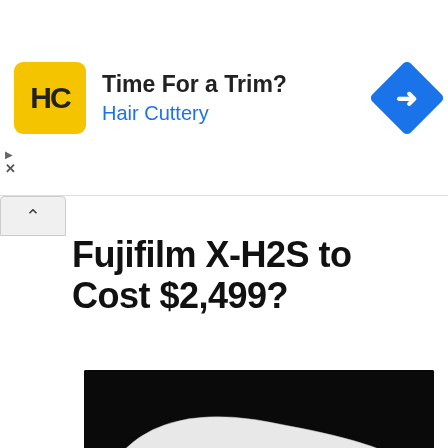[Figure (infographic): Advertisement banner for Hair Cuttery showing logo (HC in yellow square), text 'Time For a Trim? Hair Cuttery', and a blue diamond with right arrow icon]
Fujifilm X-H2S to Cost $2,499?
[Figure (photo): Fujifilm logo on a white ribbon/banner against a black background]